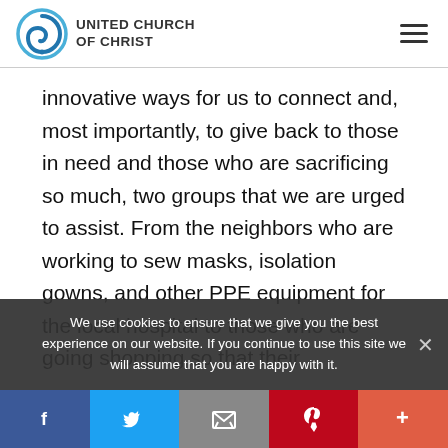UNITED CHURCH OF CHRIST
innovative ways for us to connect and, most importantly, to give back to those in need and those who are sacrificing so much, two groups that we are urged to assist. From the neighbors who are working to sew masks, isolation gowns, and other PPE equipment for the local hospital to those who are going shopping so that their
We use cookies to ensure that we give you the best experience on our website. If you continue to use this site we will assume that you are happy with it.
f  Twitter  Email  Pinterest  +